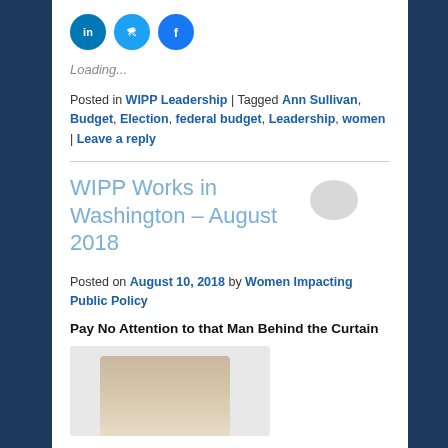[Figure (other): Social media share icons: LinkedIn (blue circle with 'in'), Twitter (blue circle with bird), Facebook (blue circle with 'f')]
Loading...
Posted in WIPP Leadership | Tagged Ann Sullivan, Budget, Election, federal budget, Leadership, women | Leave a reply
WIPP Works in Washington – August 2018
Posted on August 10, 2018 by Women Impacting Public Policy
Pay No Attention to that Man Behind the Curtain
[Figure (photo): Partial photo of a person with blonde hair, cropped at the bottom of the page]